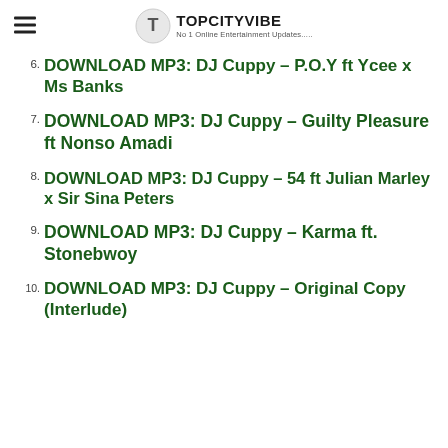TOPCITYVIBE No 1 Online Entertainment Updates.....
6. DOWNLOAD MP3: DJ Cuppy – P.O.Y ft Ycee x Ms Banks
7. DOWNLOAD MP3: DJ Cuppy – Guilty Pleasure ft Nonso Amadi
8. DOWNLOAD MP3: DJ Cuppy – 54 ft Julian Marley x Sir Sina Peters
9. DOWNLOAD MP3: DJ Cuppy – Karma ft. Stonebwoy
10. DOWNLOAD MP3: DJ Cuppy – Original Copy (Interlude)